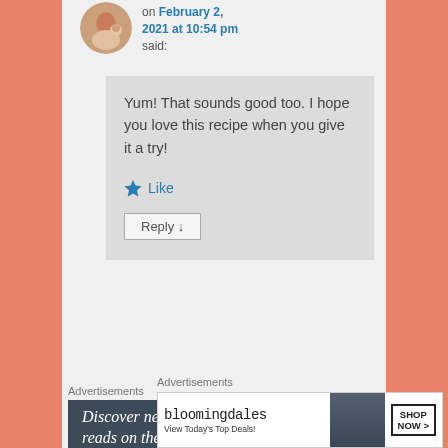[Figure (photo): User avatar thumbnail - woman with child]
on February 2, 2021 at 10:54 pm said:
Yum! That sounds good too. I hope you love this recipe when you give it a try!
★ Like
Reply ↓
Advertisements
[Figure (screenshot): Dark ad banner: Discover new reads on the go. GET THE APP with WordPress logo]
Advertisements
[Figure (screenshot): Bloomingdales ad: bloomingdales View Today's Top Deals! SHOP NOW >]